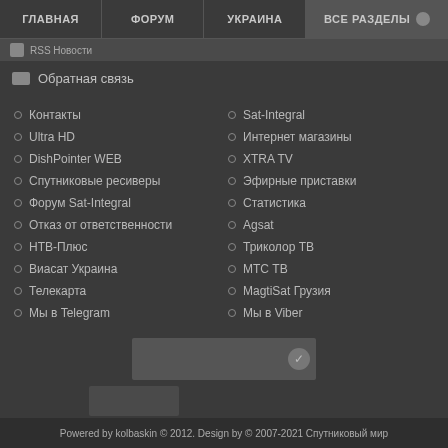ГЛАВНАЯ | ФОРУМ | УКРАИНА | ВСЕ РАЗДЕЛЫ
Обратная связь
Контакты
Ultra HD
DishPointer WEB
Спутниковые ресиверы
Форум Sat-Integral
Отказ от ответственности
НТВ-Плюс
Виасат Украина
Телекарта
Мы в Telegram
Sat-Integral
Интернет магазины
XTRA TV
Эфирные приставки
Статистика
Agsat
Триколор ТВ
МТС ТВ
MagtiSat Грузия
Мы в Viber
Powered by kolbaskin © 2012. Design by © 2007-2021 Спутниковый мир